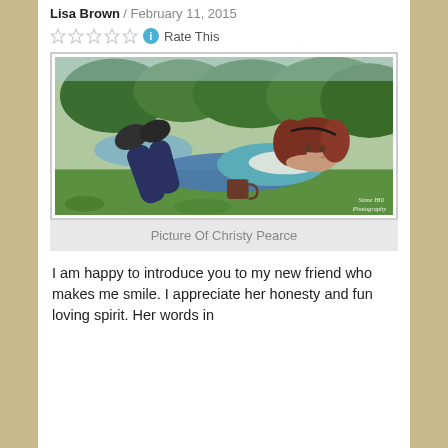Lisa Brown / February 11, 2015
☆☆☆☆☆ ℹ Rate This
[Figure (photo): A woman with long dark auburn hair lying on grass propped up on her elbows, smiling, wearing a teal top and white scarf, with a dark mug in front of her, trees and a pond in background. Watermark reads 'Stone Hill Photography'.]
Picture Of Christy Pearce
I am happy to introduce you to my new friend who makes me smile. I appreciate her honesty and fun loving spirit. Her words in